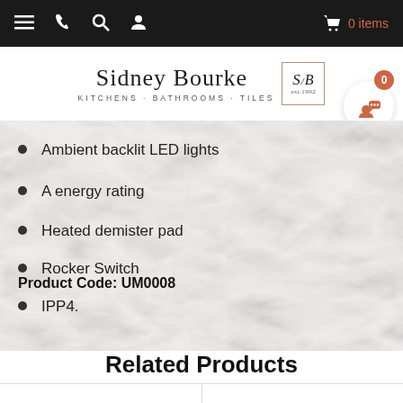Sidney Bourke · Kitchens · Bathrooms · Tiles | 0 items
Ambient backlit LED lights
A energy rating
Heated demister pad
Rocker Switch
IPP4.
Product Code: UM0008
Related Products